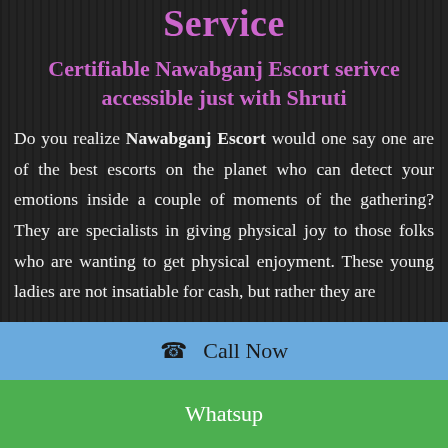Service
Certifiable Nawabganj Escort serivce accessible just with Shruti
Do you realize Nawabganj Escort would one say one are of the best escorts on the planet who can detect your emotions inside a couple of moments of the gathering? They are specialists in giving physical joy to those folks who are wanting to get physical enjoyment. These young ladies are not insatiable for cash, but rather they are
☎  Call Now
Whatsup